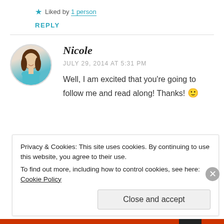★ Liked by 1 person
REPLY
Nicole
JULY 29, 2014 AT 5:31 PM
Well, I am excited that you're going to follow me and read along! Thanks! 🙂
Privacy & Cookies: This site uses cookies. By continuing to use this website, you agree to their use.
To find out more, including how to control cookies, see here: Cookie Policy
Close and accept